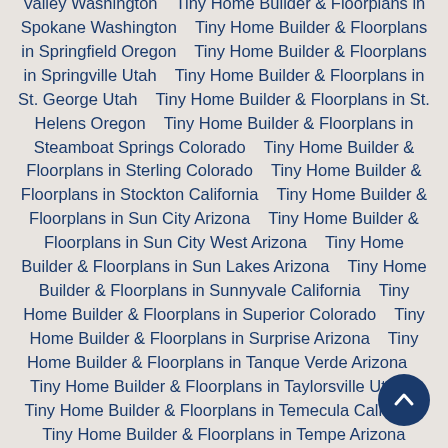Valley Washington    Tiny Home Builder & Floorplans in Spokane Washington    Tiny Home Builder & Floorplans in Springfield Oregon    Tiny Home Builder & Floorplans in Springville Utah    Tiny Home Builder & Floorplans in St. George Utah    Tiny Home Builder & Floorplans in St. Helens Oregon    Tiny Home Builder & Floorplans in Steamboat Springs Colorado    Tiny Home Builder & Floorplans in Sterling Colorado    Tiny Home Builder & Floorplans in Stockton California    Tiny Home Builder & Floorplans in Sun City Arizona    Tiny Home Builder & Floorplans in Sun City West Arizona    Tiny Home Builder & Floorplans in Sun Lakes Arizona    Tiny Home Builder & Floorplans in Sunnyvale California    Tiny Home Builder & Floorplans in Superior Colorado    Tiny Home Builder & Floorplans in Surprise Arizona    Tiny Home Builder & Floorplans in Tanque Verde Arizona    Tiny Home Builder & Floorplans in Taylorsville Utah    Tiny Home Builder & Floorplans in Temecula California    Tiny Home Builder & Floorplans in Tempe Arizona    Tiny Home Builder & Floorplans in The Dalles Oregon    Tiny Home Builder & Floorplans in Thornton Colorado    Tiny Home Builder & Floorplans in Thousand Oaks California    Tiny Home Builder & Floorplans in Tigard Oregon    Tiny Home Builder & Floorplans in Tooele Utah    Home Builder & Floorplans in Torrance California    Tiny Home